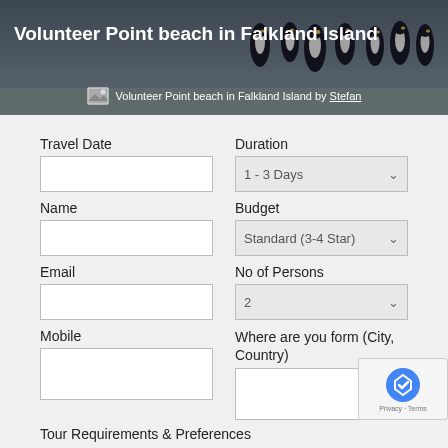[Figure (photo): Header image of Volunteer Point beach in Falkland Island showing penguins on a beach, with title overlay text]
Volunteer Point beach in Falkland Island by Stefan
Travel Date
Duration
Name
Budget
Email
No of Persons
Mobile
Where are you form (City, Country)
Tour Requirements & Preferences